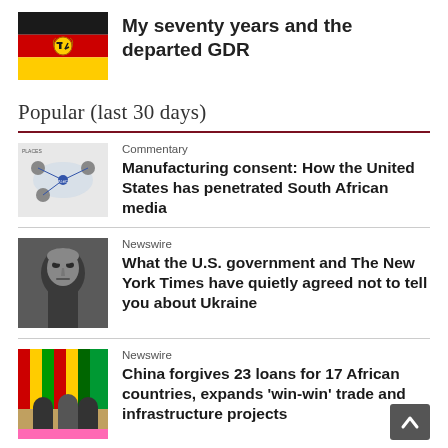[Figure (illustration): GDR (East Germany) flag — red, black, and yellow horizontal stripes with the GDR coat of arms emblem in the center]
My seventy years and the departed GDR
Popular (last 30 days)
[Figure (photo): Commentary thumbnail showing a network diagram with photos of people connected by lines, with IMEC label visible]
Commentary
Manufacturing consent: How the United States has penetrated South African media
[Figure (photo): Photo of a stern-looking bald man with dark eyes, close-up portrait]
Newswire
What the U.S. government and The New York Times have quietly agreed not to tell you about Ukraine
[Figure (photo): Photo of officials at a diplomatic meeting with colorful flags in background, appears to be a China-Africa summit]
Newswire
China forgives 23 loans for 17 African countries, expands 'win-win' trade and infrastructure projects